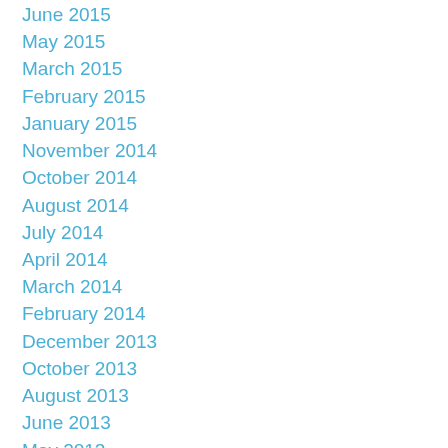June 2015
May 2015
March 2015
February 2015
January 2015
November 2014
October 2014
August 2014
July 2014
April 2014
March 2014
February 2014
December 2013
October 2013
August 2013
June 2013
May 2013
March 2013
January 2013
December 2012
October 2012